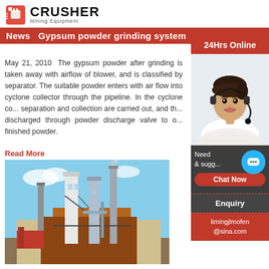CRUSHER Mining Equipment
News   Gypsum powder grinding system
May 21, 2010  The gypsum powder after grinding is taken away with airflow of blower, and is classified by separator. The suitable powder enters with air flow into cyclone collector through the pipeline. In the cyclone co... separation and collection are carried out, and th... discharged through powder discharge valve to o... finished powder.
Read More
[Figure (photo): Industrial plant with tall chimneys and processing towers against a blue sky, showing a gypsum powder processing facility]
Gypsum Powder Process Technolo... Gypsum Grinding Mill
[Figure (photo): 24Hrs Online sidebar with a customer service representative wearing a headset, chat now button, enquiry section, and email limingjlmofen@sina.com]